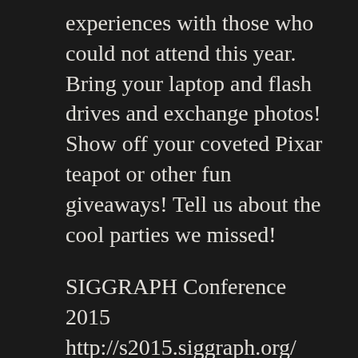experiences with those who could not attend this year. Bring your laptop and flash drives and exchange photos! Show off your coveted Pixar teapot or other fun giveaways! Tell us about the cool parties we missed!
SIGGRAPH Conference 2015
http://s2015.siggraph.org/
Please join us on Thursday, August 27, 2015 from 7pm to 9pm at the US Patent and Trademark Office to learn more about the latest news from the SIGGRAPH conference.
LOCATION: